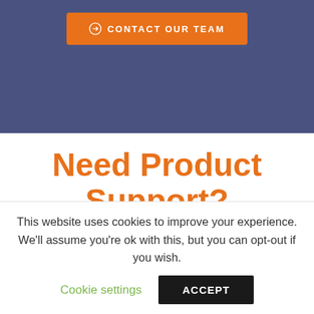[Figure (other): Orange CTA button with circle-arrow icon and text 'CONTACT OUR TEAM' on a dark blue/slate background]
Need Product Support?
Discover how Avantiico helps you improve business processes, provide customers with a seamless experience and transform the way you do business.
This website uses cookies to improve your experience. We'll assume you're ok with this, but you can opt-out if you wish.
Cookie settings   ACCEPT